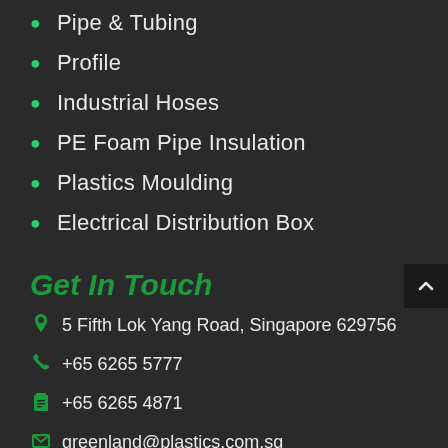Pipe & Tubing
Profile
Industrial Hoses
PE Foam Pipe Insulation
Plastics Moulding
Electrical Distribution Box
Get In Touch
5 Fifth Lok Yang Road, Singapore 629756
+65 6265 5777
+65 6265 4871
greenland@plastics.com.sg
MON – SAT: 9:00 AM – 6:30 PM